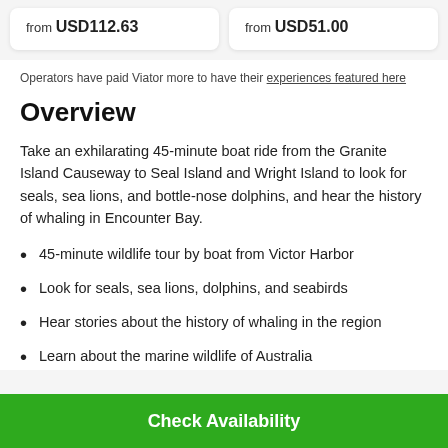from USD112.63
from USD51.00
Operators have paid Viator more to have their experiences featured here
Overview
Take an exhilarating 45-minute boat ride from the Granite Island Causeway to Seal Island and Wright Island to look for seals, sea lions, and bottle-nose dolphins, and hear the history of whaling in Encounter Bay.
45-minute wildlife tour by boat from Victor Harbor
Look for seals, sea lions, dolphins, and seabirds
Hear stories about the history of whaling in the region
Learn about the marine wildlife of Australia
Check Availability